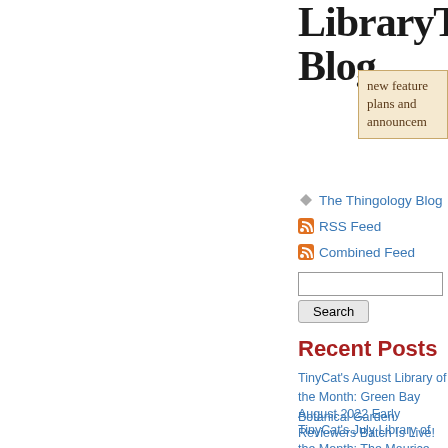LibraryThing Blog
new features, plans and announcements
The Thingology Blog
RSS Feed
Combined Feed
Recent Posts
TinyCat's August Library of the Month: Green Bay Botanical Garden
August 2022 Early Reviewers Batch Is Live!
TinyCat's July Library of the Month: The Maurice Ritz Resource Center
July 2022 Early Reviewers Batch Is Live!
TinyCat's June Library of the Month: Out On The